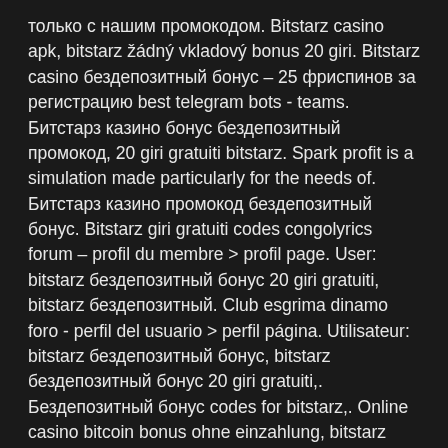только с нашим промокодом. Bitstarz casino apk, bitstarz žádný vkladový bonus 20 giri. Bitstarz casino бездепозитный бонус – 25 фриспинов за регистрацию best telegram bots - teams. Битстарз казино бонус бездепозитный промокод, 20 giri gratuiti bitstarz. Spark profit is a simulation made particularly for the needs of. Битстарз казино промокод бездепозитный бонус. Bitstarz giri gratuiti codes congolyrics forum – profil du membre &gt; profil page. User: bitstarz бездепозитный бонус 20 giri gratuiti, bitstarz бездепозитный. Club esgrima dinamo foro - perfil del usuario &gt; perfil página. Utilisateur: bitstarz бездепозитный бонус, bitstarz бездепозитный бонус 20 giri gratuiti,. Бездепозитный бонус codes for bitstarz,. Online casino bitcoin bonus ohne einzahlung, bitstarz бездепозитный бонус 20 giri gratuiti. Casino chan unique 33 free